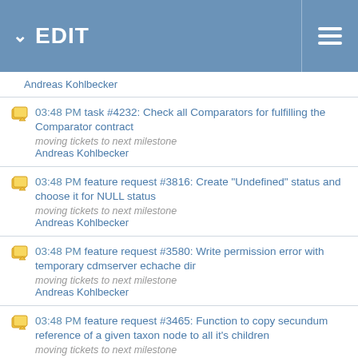EDIT
Andreas Kohlbecker
03:48 PM task #4232: Check all Comparators for fulfilling the Comparator contract
moving tickets to next milestone
Andreas Kohlbecker
03:48 PM feature request #3816: Create "Undefined" status and choose it for NULL status
moving tickets to next milestone
Andreas Kohlbecker
03:48 PM feature request #3580: Write permission error with temporary cdmserver echache dir
moving tickets to next milestone
Andreas Kohlbecker
03:48 PM feature request #3465: Function to copy secundum reference of a given taxon node to all it's children
moving tickets to next milestone
Andreas Kohlbecker
03:48 PM feature request #3362: Enabling sound files (mp3) in